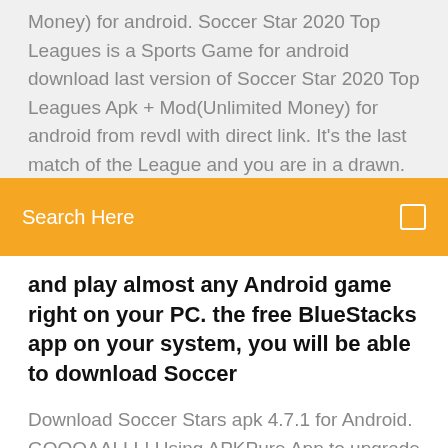Money) for android. Soccer Star 2020 Top Leagues is a Sports Game for android download last version of Soccer Star 2020 Top Leagues Apk + Mod(Unlimited Money) for android from revdl with direct link. It's the last match of the League and you are in a drawn. It's your turn to choose the destiny of your soccer team.
[Figure (other): Orange search bar with text 'Search Here' and a small icon on the right]
and play almost any Android game right on your PC. the free BlueStacks app on your system, you will be able to download Soccer
Download Soccer Stars apk 4.7.1 for Android. GOOOAALLL! Using APKPure App to upgrade Soccer Stars, install xapk, fast, free and save your internet data. Soccer Stars Android latest 4.7.1 APK Download and Install. GOOOAALLL! Play the hit Download / Update this XAPK, faster, free and saving data! Download. Download Trial Xtreme 4: extreme bike racing champions 2.8.3 Version Latest Update free Game offline apk